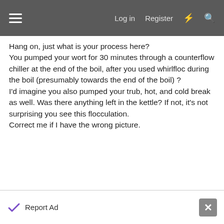Log in  Register
Hang on, just what is your process here?
You pumped your wort for 30 minutes through a counterflow chiller at the end of the boil, after you used whirlfloc during the boil (presumably towards the end of the boil) ?
I'd imagine you also pumped your trub, hot, and cold break as well. Was there anything left in the kettle? If not, it's not surprising you see this flocculation.
Correct me if I have the wrong picture.
Reply
23/1/22  #3
Martinez
Well-Known Member
Report Ad